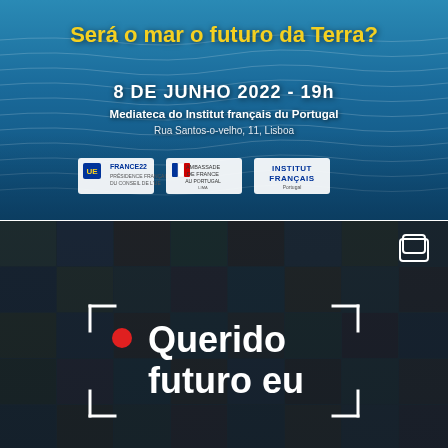[Figure (illustration): Top panel with ocean/sea background showing blue water. Yellow bold text reads 'Será o mar o futuro da Terra?' at top. Below in white: '8 DE JUNHO 2022 - 19h', 'Mediateca do Institut français du Portugal', 'Rua Santos-o-velho, 11, Lisboa'. Three logos at bottom: France22 EU presidency logo, Ambassade de France au Portugal, Institut Français.]
[Figure (illustration): Bottom panel showing a dark collage of many people's faces/photos as background. In the center-left area, white bracket/frame corners surround a red record button dot and bold white text reading 'Querido futuro eu'. A camera/layers icon appears in the top right corner.]